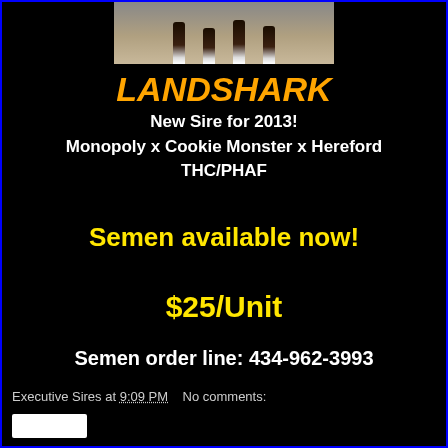[Figure (photo): Photo of horse legs at bottom of frame, showing hooves against sandy/dirt ground background]
LANDSHARK
New Sire for 2013!
Monopoly x Cookie Monster x Hereford
THC/PHAF
Semen available now!
$25/Unit
Semen order line: 434-962-3993
Executive Sires at 9:09 PM   No comments: